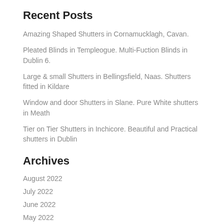Recent Posts
Amazing Shaped Shutters in Cornamucklagh, Cavan.
Pleated Blinds in Templeogue. Multi-Fuction Blinds in Dublin 6.
Large & small Shutters in Bellingsfield, Naas. Shutters fitted in Kildare
Window and door Shutters in Slane. Pure White shutters in Meath
Tier on Tier Shutters in Inchicore. Beautiful and Practical shutters in Dublin
Archives
August 2022
July 2022
June 2022
May 2022